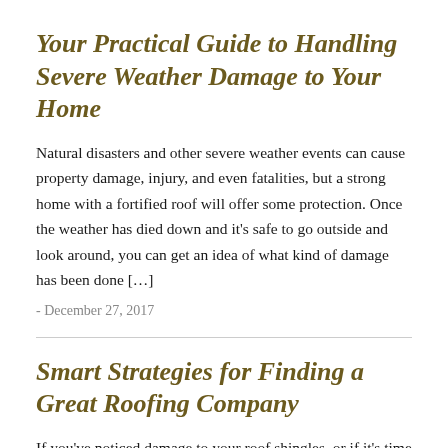Your Practical Guide to Handling Severe Weather Damage to Your Home
Natural disasters and other severe weather events can cause property damage, injury, and even fatalities, but a strong home with a fortified roof will offer some protection. Once the weather has died down and it’s safe to go outside and look around, you can get an idea of what kind of damage has been done […]
- December 27, 2017
Smart Strategies for Finding a Great Roofing Company
If you’ve noticed damage to your roof shingles, or if it’s time to replace an entire flat roof, you should spend a little time researching local roofing companies. A number of factors determine a